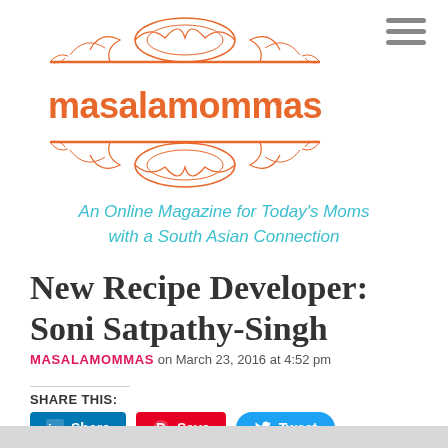[Figure (logo): Masala Mommas logo with ornate orange decorative design and pink text reading 'masalamommas' with horizontal orange lines above and below]
An Online Magazine for Today's Moms with a South Asian Connection
New Recipe Developer: Soni Satpathy-Singh
MASALAMOMMAS on March 23, 2016 at 4:52 pm
SHARE THIS:
[Figure (infographic): Social share buttons: LinkedIn Share (blue), Pinterest Save (red), Twitter Tweet (light blue)]